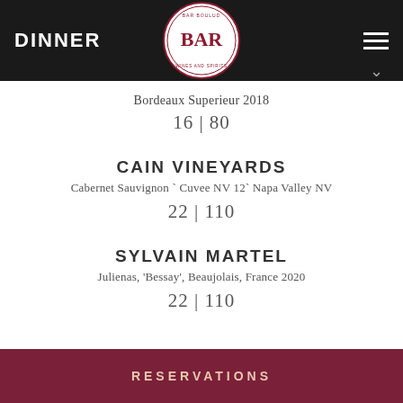DINNER
[Figure (logo): BAR Boulud circular logo with crown and text around the border]
Bordeaux Superieur 2018
16 | 80
CAIN VINEYARDS
Cabernet Sauvignon ` Cuvee NV 12` Napa Valley NV
22 | 110
SYLVAIN MARTEL
Julienas, 'Bessay', Beaujolais, France 2020
22 | 110
RESERVATIONS